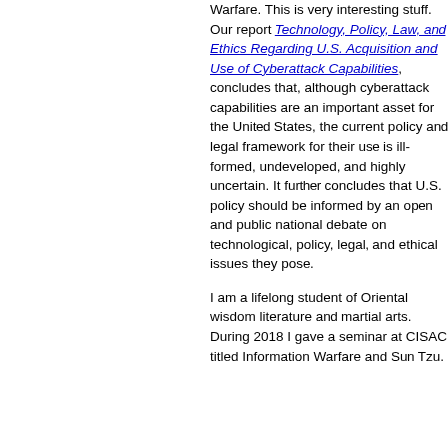Warfare. This is very interesting stuff. Our report Technology, Policy, Law, and Ethics Regarding U.S. Acquisition and Use of Cyberattack Capabilities, concludes that, although cyberattack capabilities are an important asset for the United States, the current policy and legal framework for their use is ill-formed, undeveloped, and highly uncertain. It further concludes that U.S. policy should be informed by an open and public national debate on the technological, policy, legal, and ethical issues they pose.
I am a lifelong student of Oriental wisdom literature and martial arts. During 2018 I gave a seminar at CISAC titled Information Warfare and Sun Tzu.